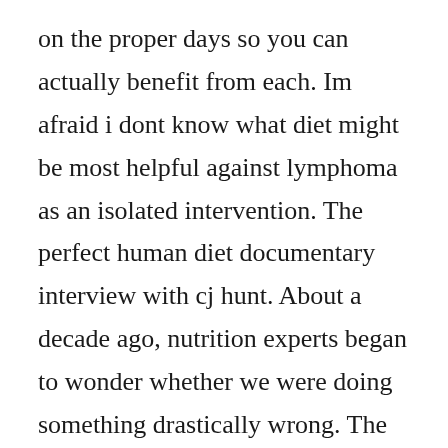on the proper days so you can actually benefit from each. Im afraid i dont know what diet might be most helpful against lymphoma as an isolated intervention. The perfect human diet documentary interview with cj hunt. About a decade ago, nutrition experts began to wonder whether we were doing something drastically wrong. The documentary that bypasses common contradictory dietary bias and the recycling of confusion, by filming interviews and. Additionally, the movies would seem opposed, one exulting the benefits of a meat-intensive paleo lifestyle and...